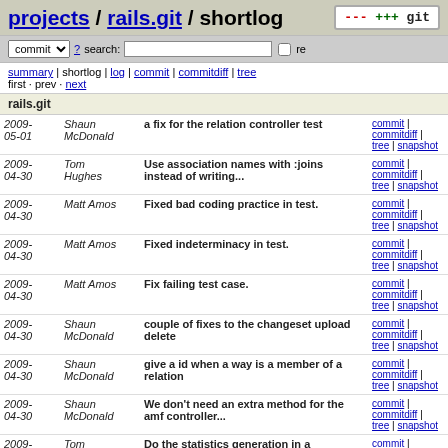projects / rails.git / shortlog
commit ? search: re
summary | shortlog | log | commit | commitdiff | tree
first · prev · next
rails.git
| Date | Author | Message | Links |
| --- | --- | --- | --- |
| 2009-05-01 | Shaun McDonald | a fix for the relation controller test | commit | commitdiff | tree | snapshot |
| 2009-04-30 | Tom Hughes | Use association names with :joins instead of writing... | commit | commitdiff | tree | snapshot |
| 2009-04-30 | Matt Amos | Fixed bad coding practice in test. | commit | commitdiff | tree | snapshot |
| 2009-04-30 | Matt Amos | Fixed indeterminacy in test. | commit | commitdiff | tree | snapshot |
| 2009-04-30 | Matt Amos | Fix failing test case. | commit | commitdiff | tree | snapshot |
| 2009-04-30 | Shaun McDonald | couple of fixes to the changeset upload delete | commit | commitdiff | tree | snapshot |
| 2009-04-30 | Shaun McDonald | give a id when a way is a member of a relation | commit | commitdiff | tree | snapshot |
| 2009-04-30 | Shaun McDonald | We don't need an extra method for the amf controller... | commit | commitdiff | tree | snapshot |
| 2009- | Tom | Do the statistics generation in a ... | commit | commitdiff |